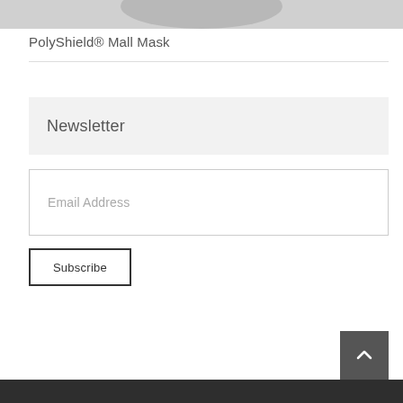[Figure (photo): Partially cropped product image at the very top of the page, showing a rounded shape against a gray background.]
PolyShield® Mall Mask
Newsletter
Email Address
Subscribe